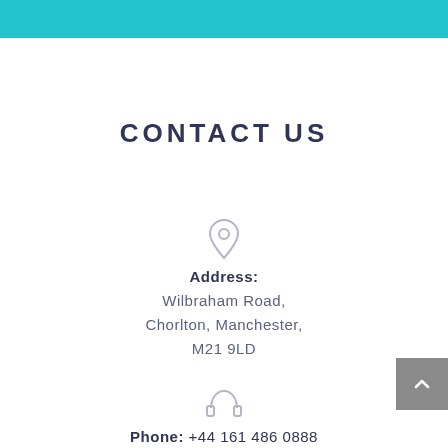CONTACT US
[Figure (illustration): Location pin / map marker icon in light grey outline style]
Address:
Wilbraham Road,
Chorlton, Manchester,
M21 9LD
[Figure (illustration): Headphone / phone support icon in light grey outline style]
Phone: +44 161 486 0888